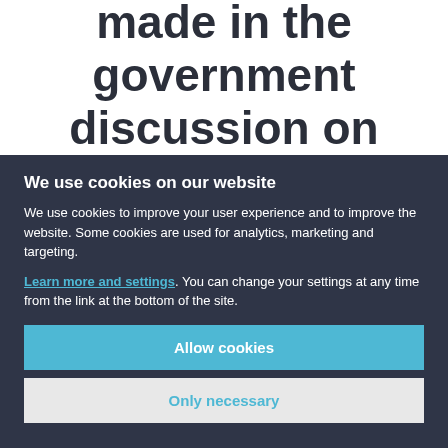investments made in the government discussion on
We use cookies on our website
We use cookies to improve your user experience and to improve the website. Some cookies are used for analytics, marketing and targeting.
Learn more and settings. You can change your settings at any time from the link at the bottom of the site.
Allow cookies
Only necessary